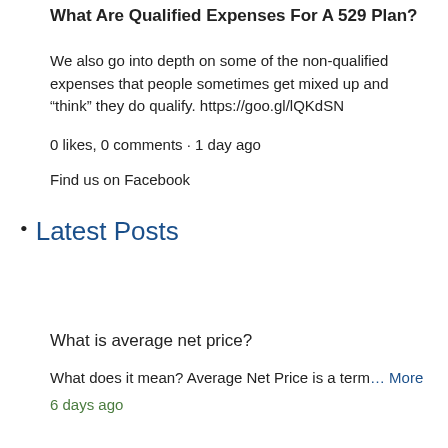What Are Qualified Expenses For A 529 Plan?
We also go into depth on some of the non-qualified expenses that people sometimes get mixed up and “think” they do qualify. https://goo.gl/lQKdSN
0 likes, 0 comments · 1 day ago
Find us on Facebook
Latest Posts
What is average net price?
What does it mean? Average Net Price is a term… More
6 days ago